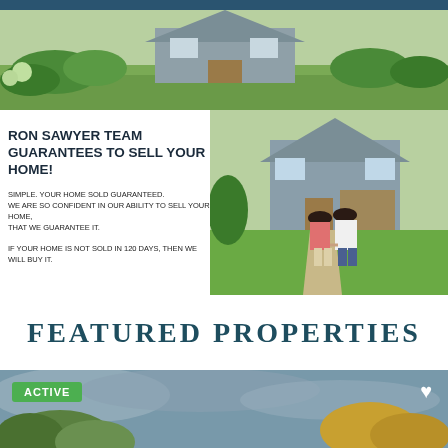[Figure (photo): Hero banner photo of a suburban house with green lawn and shrubs, dark blue header bar at top]
RON SAWYER TEAM GUARANTEES TO SELL YOUR HOME!
SIMPLE. YOUR HOME SOLD GUARANTEED. WE ARE SO CONFIDENT IN OUR ABILITY TO SELL YOUR HOME, THAT WE GUARANTEE IT. IF YOUR HOME IS NOT SOLD IN 120 DAYS, THEN WE WILL BUY IT.
[Figure (photo): Couple holding hands looking at a house from behind, woman in pink shirt, man in white shirt]
FEATURED PROPERTIES
[Figure (photo): Featured property photo with trees and sky, green ACTIVE badge top-left, white heart icon top-right]